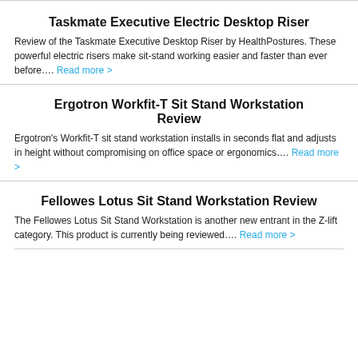Taskmate Executive Electric Desktop Riser
Review of the Taskmate Executive Desktop Riser by HealthPostures. These powerful electric risers make sit-stand working easier and faster than ever before…. Read more >
Ergotron Workfit-T Sit Stand Workstation Review
Ergotron's Workfit-T sit stand workstation installs in seconds flat and adjusts in height without compromising on office space or ergonomics…. Read more >
Fellowes Lotus Sit Stand Workstation Review
The Fellowes Lotus Sit Stand Workstation is another new entrant in the Z-lift category. This product is currently being reviewed…. Read more >